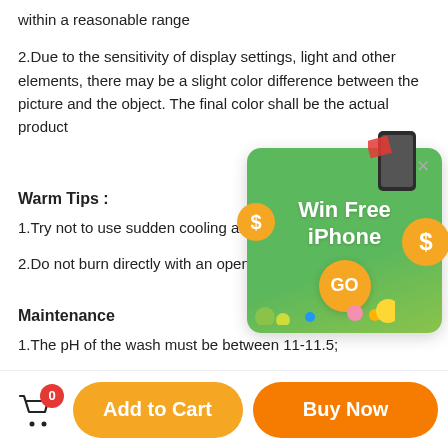within a reasonable range
2.Due to the sensitivity of display settings, light and other elements, there may be a slight color difference between the picture and the object. The final color shall be the actual product
[Figure (illustration): Pop-up advertisement showing 'Win Free iPhone' with a green envelope background, dollar coin icons, a GO button, and an iPhone image in the corner with an X close button.]
Warm Tips :
1.Try not to use sudden cooling and heat to avoid crack
2.Do not burn directly with an open flame.
Maintenance
1.The pH of the wash must be between 11-11.5;
2.Scratches, can be polished by toothpaste;
3.If there is tea stain, wash it with lemon juice or vinegar;
[Figure (illustration): Bottom bar with cart icon (badge showing 0), yellow 'Add to Cart' button, and orange 'Buy Now' button.]